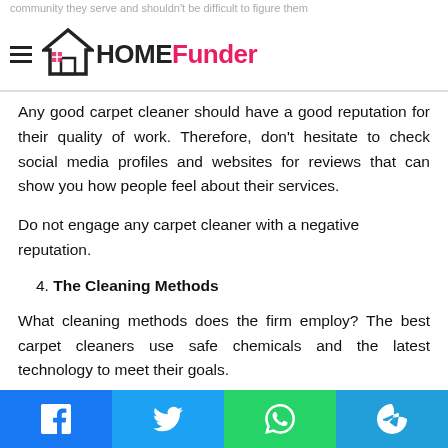community they serve and shouldn't be difficult to figure them
[Figure (logo): HOME Funder logo with house icon and hamburger menu]
Any good carpet cleaner should have a good reputation for their quality of work. Therefore, don't hesitate to check social media profiles and websites for reviews that can show you how people feel about their services.
Do not engage any carpet cleaner with a negative reputation.
4. The Cleaning Methods
What cleaning methods does the firm employ? The best carpet cleaners use safe chemicals and the latest technology to meet their goals.
In most cases, they'll send rugs out of the house for cleaning
Facebook | Twitter | WhatsApp | Telegram social share buttons